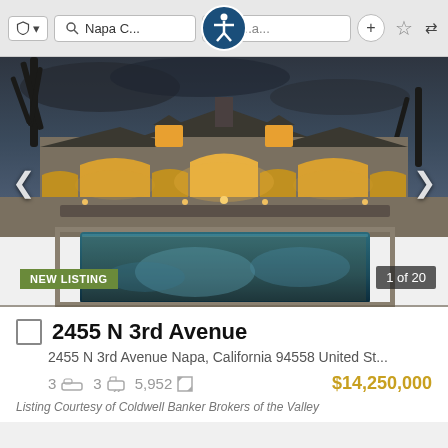[Figure (screenshot): Mobile browser toolbar showing shield icon, search icon with 'Napa C...' text, URL bar with 'En...a...', plus button, star/bookmark icon, accessibility icon overlay, and sort/filter icon]
[Figure (photo): Luxury estate property photo at dusk showing a large stone/stucco mansion with arched windows glowing with warm light, a rectangular swimming pool in the foreground reflecting the house, and bare winter trees on the left. Navigation arrows on left and right sides. 'NEW LISTING' badge bottom left, '1 of 20' indicator bottom right.]
2455 N 3rd Avenue
2455 N 3rd Avenue Napa, California 94558 United St...
3  [bed icon]  3  [bath icon]  5,952  [sqft icon]  $14,250,000
Listing Courtesy of Coldwell Banker Brokers of the Valley